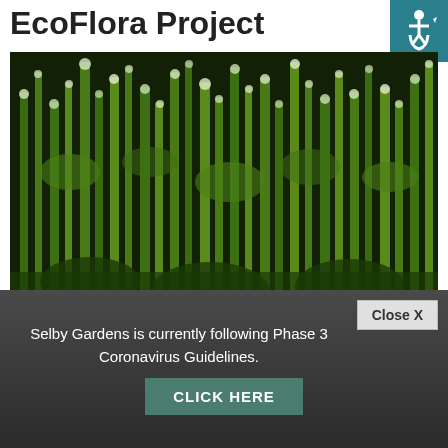EcoFlora Project
[Figure (photo): Close-up photograph of green flowering mustard plants with small white blossoms against a dark background]
Talking Mustards with Dr. Tatiana Arias
Happy June, EcoFlora participants!  We are now in the
Selby Gardens is currently following Phase 3 Coronavirus Guidelines.
CLICK HERE